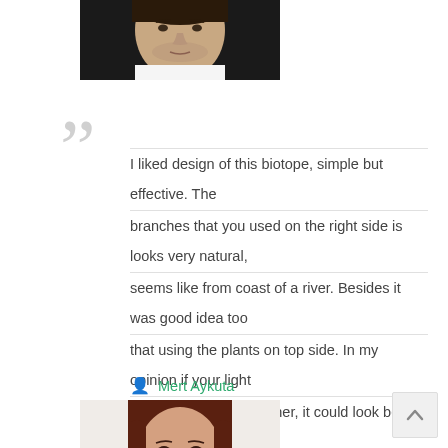[Figure (photo): Cropped profile photo of a young man, dark hair, wearing a white shirt, dark background]
I liked design of this biotope, simple but effective. The branches that you used on the right side is looks very natural, seems like from coast of a river. Besides it was good idea too that using the plants on top side. In my opinion if your light you use would be warmer, it could look better. Good tank dimensions, good species, good materials. This biotope has one of best appearances in this competition. Congrats.
Mert Aykuta
[Figure (photo): Profile photo of a woman with brown hair, smiling, light background]